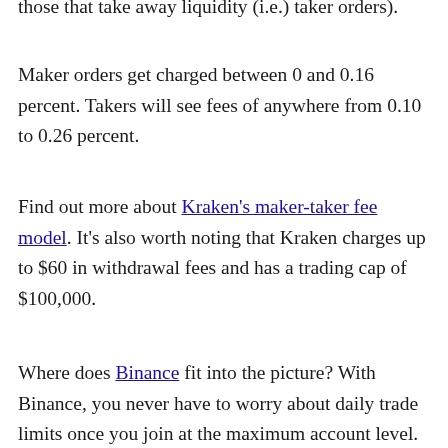those that take away liquidity (i.e.) taker orders).
Maker orders get charged between 0 and 0.16 percent. Takers will see fees of anywhere from 0.10 to 0.26 percent.
Find out more about Kraken's maker-taker fee model. It's also worth noting that Kraken charges up to $60 in withdrawal fees and has a trading cap of $100,000.
Where does Binance fit into the picture? With Binance, you never have to worry about daily trade limits once you join at the maximum account level. The exchange also offers some of the lowest rates